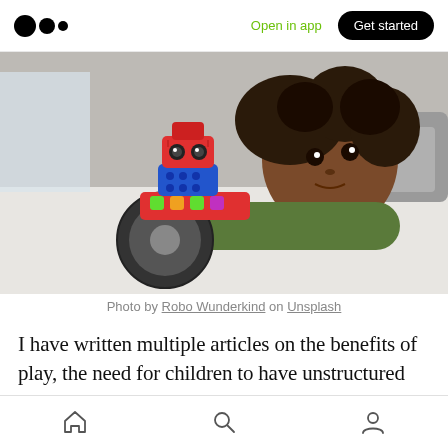Open in app  Get started
[Figure (photo): A young child with curly hair lying on a white table surface, looking up at a colorful block-based toy robot with wheels. The robot has red, blue, and green blocks stacked with a red head that has camera-like eyes. Indoor setting with sofa visible in background.]
Photo by Robo Wunderkind on Unsplash
I have written multiple articles on the benefits of play, the need for children to have unstructured
Home  Search  Profile